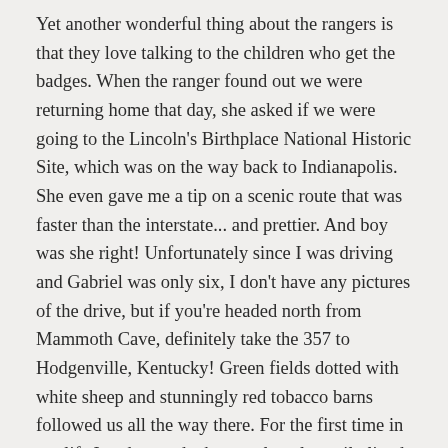Yet another wonderful thing about the rangers is that they love talking to the children who get the badges. When the ranger found out we were returning home that day, she asked if we were going to the Lincoln's Birthplace National Historic Site, which was on the way back to Indianapolis. She even gave me a tip on a scenic route that was faster than the interstate... and prettier. And boy was she right! Unfortunately since I was driving and Gabriel was only six, I don't have any pictures of the drive, but if you're headed north from Mammoth Cave, definitely take the 357 to Hodgenville, Kentucky! Green fields dotted with white sheep and stunningly red tobacco barns followed us all the way there. For the first time in my life I understood why people voluntarily lived in Kentucky. 🙂
Lincoln's Birthplace National Historic Site is very